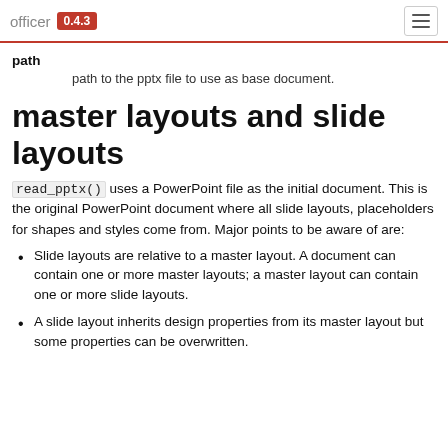officer 0.4.3
path
path to the pptx file to use as base document.
master layouts and slide layouts
read_pptx() uses a PowerPoint file as the initial document. This is the original PowerPoint document where all slide layouts, placeholders for shapes and styles come from. Major points to be aware of are:
Slide layouts are relative to a master layout. A document can contain one or more master layouts; a master layout can contain one or more slide layouts.
A slide layout inherits design properties from its master layout but some properties can be overwritten.